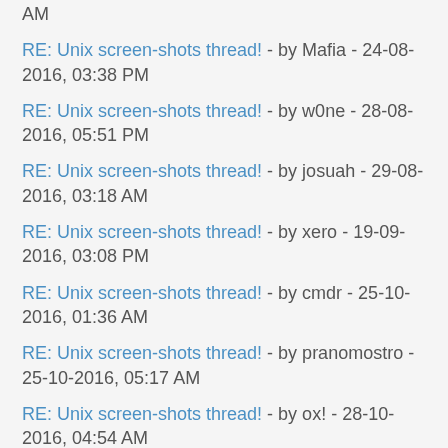RE: Unix screen-shots thread! - by Mafia - 24-08-2016, 03:38 PM
RE: Unix screen-shots thread! - by w0ne - 28-08-2016, 05:51 PM
RE: Unix screen-shots thread! - by josuah - 29-08-2016, 03:18 AM
RE: Unix screen-shots thread! - by xero - 19-09-2016, 03:08 PM
RE: Unix screen-shots thread! - by cmdr - 25-10-2016, 01:36 AM
RE: Unix screen-shots thread! - by pranomostro - 25-10-2016, 05:17 AM
RE: Unix screen-shots thread! - by ox! - 28-10-2016, 04:54 AM
RE: Unix screen-shots thread! - by stephant - 04-11-2016, 12:09 PM
RE: Unix screen-shots thread! - by Dobbie03 - 05-11-2016, 01:11 AM
RE: Unix screen-shots thread! - by wsaile - 05-11-2016, 01:27 AM
RE: Unix screen-shots thread! - by Dobbie03 - 05-11-2016,